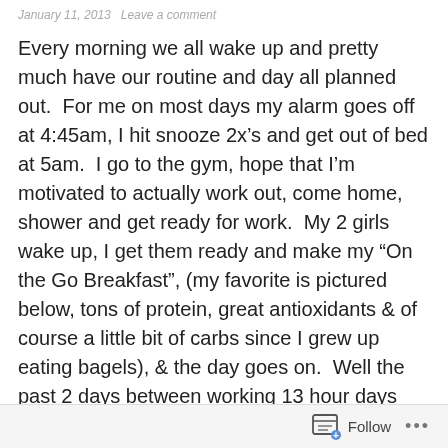January 11, 2013  Leave a comment
Every morning we all wake up and pretty much have our routine and day all planned out.  For me on most days my alarm goes off at 4:45am, I hit snooze 2x’s and get out of bed at 5am.  I go to the gym, hope that I’m motivated to actually work out, come home, shower and get ready for work.  My 2 girls wake up, I get them ready and make my “On the Go Breakfast”, (my favorite is pictured below, tons of protein, great antioxidants & of course a little bit of carbs since I grew up eating bagels), & the day goes on.  Well the past 2 days between working 13 hour days and still making time for the gym, I realized I missed the most important thing that I was supposed to be doing, spending time with God!  By the time I got through my routine I sat on the couch and fell
Follow ...